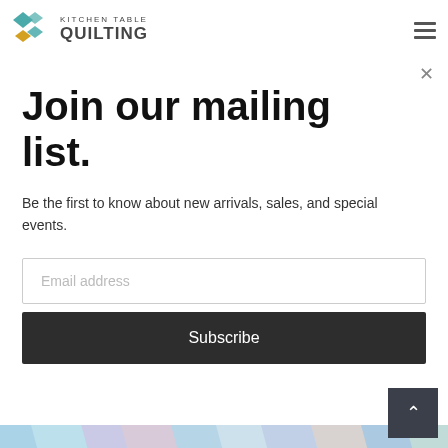KITCHEN TABLE QUILTING
Join our mailing list.
Be the first to know about new arrivals, sales, and special events.
[Figure (screenshot): Email address input field with placeholder text 'Email address']
[Figure (screenshot): Dark Subscribe button]
[Figure (photo): Colorful quilted fabric with geometric patterns in blues, pinks, and purples]